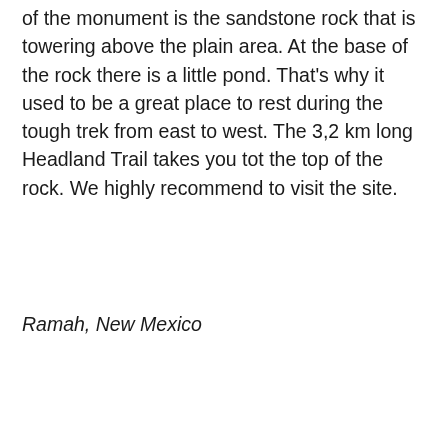of the monument is the sandstone rock that is towering above the plain area. At the base of the rock there is a little pond. That's why it used to be a great place to rest during the tough trek from east to west. The 3,2 km long Headland Trail takes you tot the top of the rock. We highly recommend to visit the site.
Ramah, New Mexico